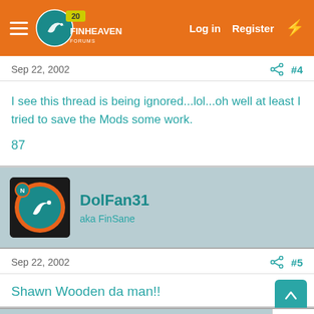FinHeaven - Log in  Register
Sep 22, 2002  #4
I see this thread is being ignored...lol...oh well at least I tried to save the Mods some work.

87
DolFan31
aka FinSane
Sep 22, 2002  #5
Shawn Wooden da man!!
DolFan31
× Close